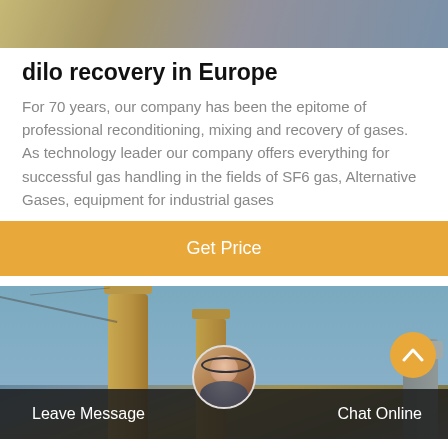[Figure (photo): Industrial or construction photo at the top of the page — blurred background with outdoor setting]
dilo recovery in Europe
For 70 years, our company has been the epitome of professional reconditioning, mixing and recovery of gases. As technology leader our company offers everything for successful gas handling in the fields of SF6 gas, Alternative Gases, equipment for industrial gases
Get Price
[Figure (photo): Industrial equipment photo showing tall cylindrical towers or columns against a blue sky, with mechanical components visible]
Leave Message
Chat Online